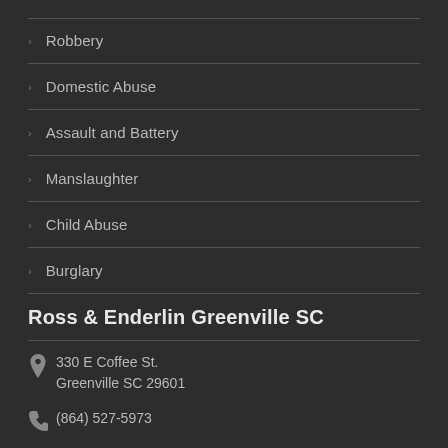Robbery
Domestic Abuse
Assault and Battery
Manslaughter
Child Abuse
Burglary
Ross & Enderlin Greenville SC
330 E Coffee St.
Greenville SC 29601
(864) 527-5973